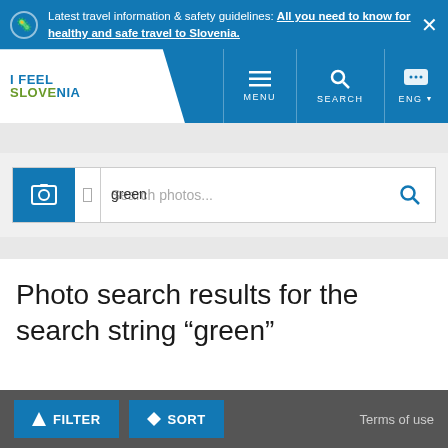Latest travel information & safety guidelines: All you need to know for healthy and safe travel to Slovenia.
[Figure (screenshot): I Feel Slovenia navigation bar with MENU, SEARCH, and ENG language selector icons]
[Figure (screenshot): Search box with photo icon and text input showing 'Search photos...' placeholder and 'green' typed text]
Photo search results for the search string “green”
[Figure (screenshot): Bottom toolbar with FILTER and SORT buttons and Terms of use link]